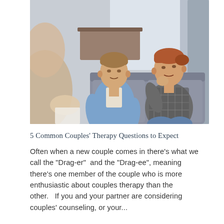[Figure (photo): A couple sitting on a grey couch in a therapy session. A man with short brown hair wearing a blue shirt sits on the left, looking serious toward someone off-frame. A woman with reddish hair pulled back wearing a plaid shirt sits on the right, resting her chin on her hand. A blurred figure in the foreground appears to be the therapist. Bright, naturally lit room with curtains and furniture visible in background.]
5 Common Couples' Therapy Questions to Expect
Often when a new couple comes in there's what we call the "Drag-er" and the "Drag-ee", meaning there's one member of the couple who is more enthusiastic about couples therapy than the other.   If you and your partner are considering couples' counseling, or your...